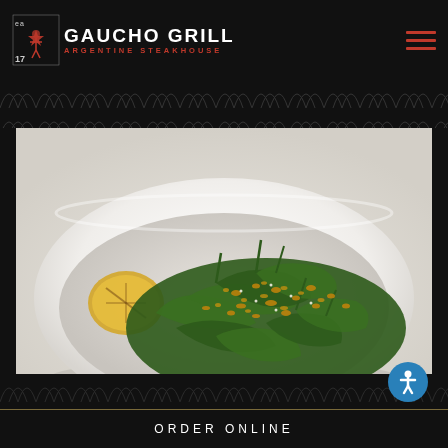[Figure (logo): Gaucho Grill Argentine Steakhouse logo with stylized star/gaucho icon and number 17]
[Figure (photo): A white bowl filled with blistered shishito peppers topped with crushed nuts/breadcrumbs and a grilled lemon half, served on a white surface]
ORDER ONLINE